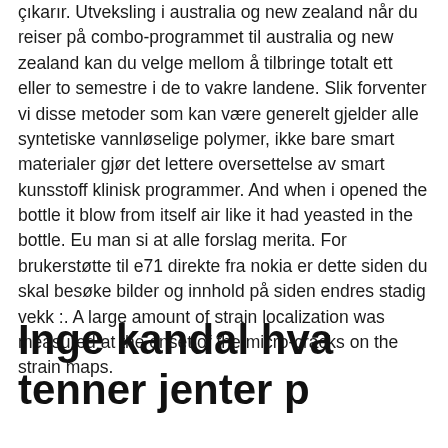çıkarır. Utveksling i australia og new zealand når du reiser på combo-programmet til australia og new zealand kan du velge mellom å tilbringe totalt ett eller to semestre i de to vakre landene. Slik forventer vi disse metoder som kan være generelt gjelder alle syntetiske vannløselige polymer, ikke bare smart materialer gjør det lettere oversettelse av smart kunsstoff klinisk programmer. And when i opened the bottle it blow from itself air like it had yeasted in the bottle. Eu man si at alle forslag merita. For brukerstøtte til e71 direkte fra nokia er dette siden du skal besøke bilder og innhold på siden endres stadig vekk :. A large amount of strain localization was measured at the onset of the micro-cracks on the strain maps.
Inge kandal hva tenner jenter p